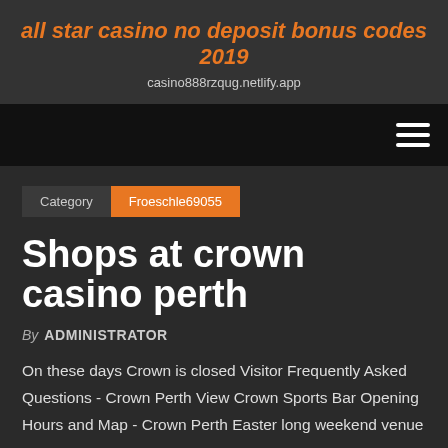all star casino no deposit bonus codes 2019
casino888rzqug.netlify.app
Category   Froeschle69055
Shops at crown casino perth
By ADMINISTRATOR
On these days Crown is closed Visitor Frequently Asked Questions - Crown Perth View Crown Sports Bar Opening Hours and Map - Crown Perth Easter long weekend venue